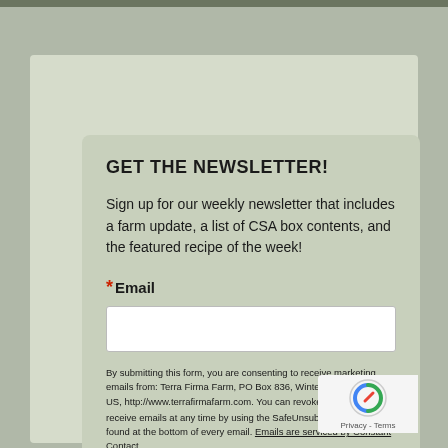GET THE NEWSLETTER!
Sign up for our weekly newsletter that includes a farm update, a list of CSA box contents, and the featured recipe of the week!
* Email
By submitting this form, you are consenting to receive marketing emails from: Terra Firma Farm, PO Box 836, Winters, CA, 95694, US, http://www.terrafirmafarm.com. You can revoke your consent to receive emails at any time by using the SafeUnsubscribe® link, found at the bottom of every email. Emails are serviced by Constant Contact.